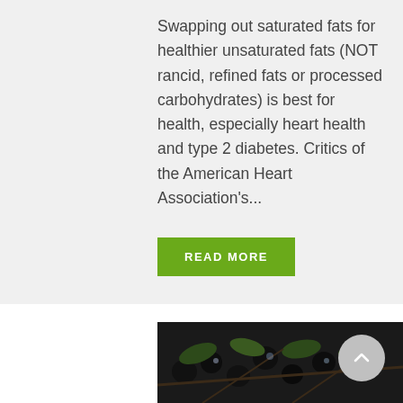Swapping out saturated fats for healthier unsaturated fats (NOT rancid, refined fats or processed carbohydrates) is best for health, especially heart health and type 2 diabetes. Critics of the American Heart Association's...
READ MORE
[Figure (photo): Close-up photo of dark berries or fruits on branches with green leaves]